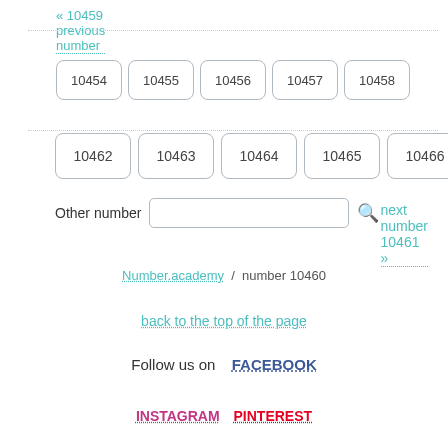« 10459 previous number
10454
10455
10456
10457
10458
next number 10461 »
10462
10463
10464
10465
10466
Other number
Number.academy / number 10460
back to the top of the page
Follow us on FACEBOOK
INSTAGRAM PINTEREST